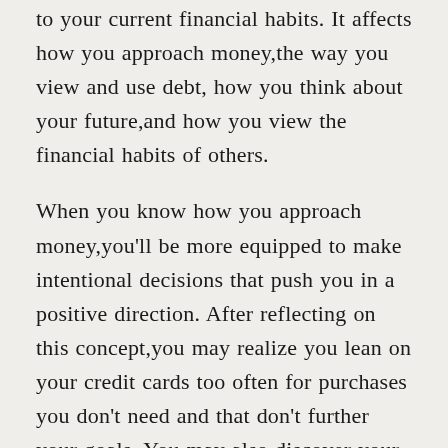to your current financial habits. It affects how you approach money, the way you view and use debt, how you think about your future, and how you view the financial habits of others.
When you know how you approach money, you'll be more equipped to make intentional decisions that push you in a positive direction. After reflecting on this concept, you may realize you lean on your credit cards too often for purchases you don't need and that don't further your goals. You may also discover your propensity for giving comes from a long line of generous role models.
Your money mindset also reveals both your positive and negative traits regarding financial management. This concept isn't inherently intuitive. It's critical to spend some time thinking through these questions and being honest with yourself about your attitude toward your